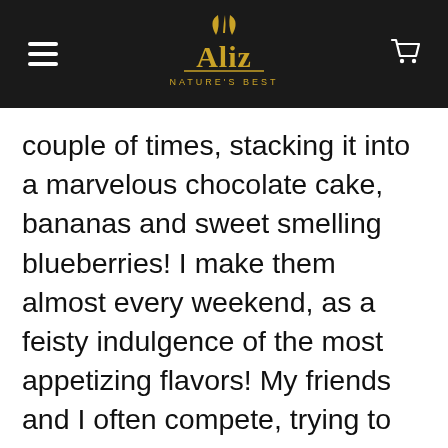Aliz Nature's Best
couple of times, stacking it into a marvelous chocolate cake, bananas and sweet smelling blueberries! I make them almost every weekend, as a feisty indulgence of the most appetizing flavors! My friends and I often compete, trying to win the little “Julia Childs Cookery Contest”, that is held at our homes every now and then, during fun-filled tea sessions and sleepover parties! I never change the legendary recipe much, except adding a bit of sugar to